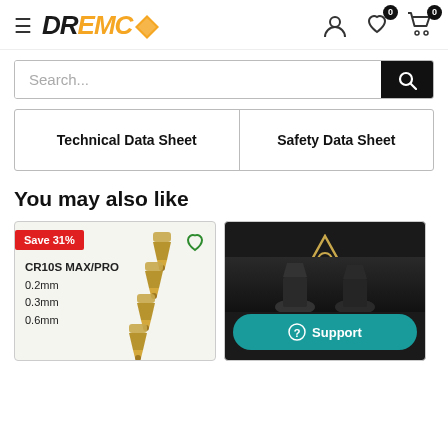DREMC — Navigation header with hamburger menu, logo, user icon, wishlist (0), cart (0)
Search...
| Technical Data Sheet | Safety Data Sheet |
| --- | --- |
You may also like
[Figure (photo): Product card showing brass nozzles for CR10S MAX/PRO in 0.2mm, 0.3mm, 0.6mm with Save 31% badge]
[Figure (screenshot): Dark product card with triangular logo and teal Support button]